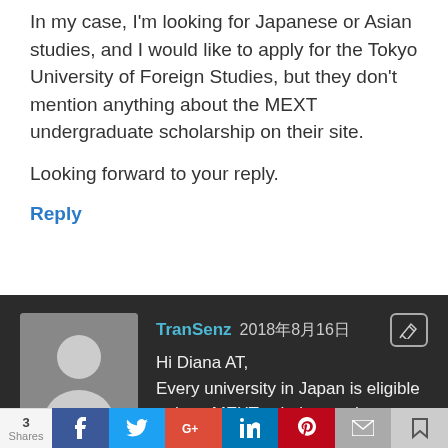In my case, I'm looking for Japanese or Asian studies, and I would like to apply for the Tokyo University of Foreign Studies, but they don't mention anything about the MEXT undergraduate scholarship on their site.

Looking forward to your reply.
Reply
TranSenz 2018年8月16日
Hi Diana AT,
Every university in Japan is eligible to host MEXT scholars at the graduate level, but the rules may be different for the undergraduate scholarship
3 Shares